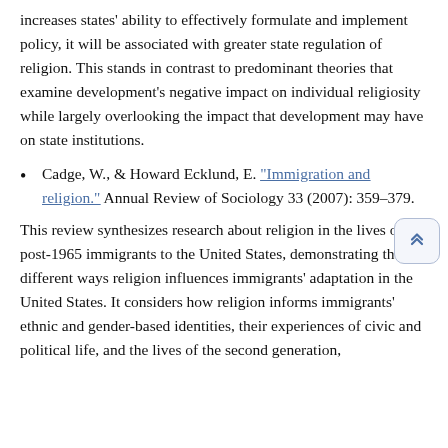increases states' ability to effectively formulate and implement policy, it will be associated with greater state regulation of religion. This stands in contrast to predominant theories that examine development's negative impact on individual religiosity while largely overlooking the impact that development may have on state institutions.
Cadge, W., & Howard Ecklund, E. "Immigration and religion." Annual Review of Sociology 33 (2007): 359–379.
This review synthesizes research about religion in the lives of post-1965 immigrants to the United States, demonstrating the different ways religion influences immigrants' adaptation in the United States. It considers how religion informs immigrants' ethnic and gender-based identities, their experiences of civic and political life, and the lives of the second generation,